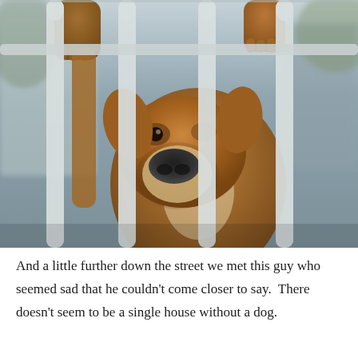[Figure (photo): A brown boxer or pit bull type dog standing on its hind legs with paws gripping a white metal fence/gate, looking through the bars. The dog's face and nose are visible between the fence bars. The background is blurred showing an outdoor setting.]
And a little further down the street we met this guy who seemed sad that he couldn't come closer to say.  There doesn't seem to be a single house without a dog.